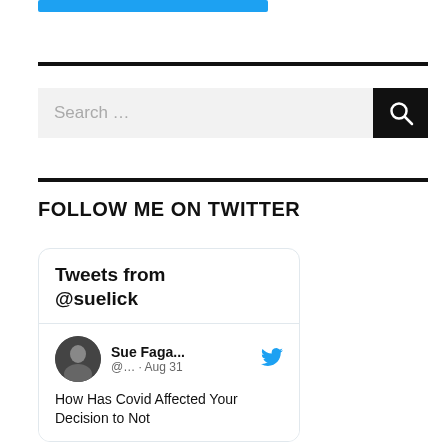[Figure (other): Blue bar/button at top of sidebar]
[Figure (other): Search bar with magnifying glass icon]
FOLLOW ME ON TWITTER
[Figure (screenshot): Twitter widget showing Tweets from @suelick. Tweet by Sue Faga... @... Aug 31: How Has Covid Affected Your Decision to Not]